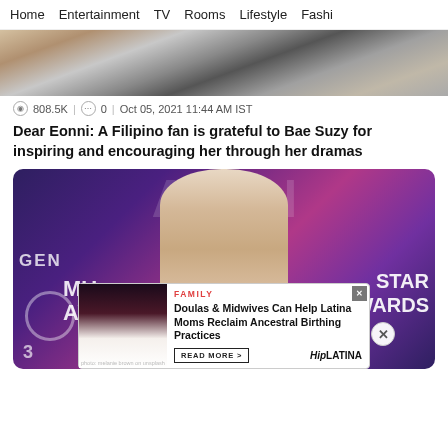Home | Entertainment | TV | Rooms | Lifestyle | Fashion
[Figure (photo): Top portion of a woman with dark hair, wearing a gray outfit, hand raised near head]
808.5K | 0 | Oct 05, 2021 11:44 AM IST
Dear Eonni: A Filipino fan is grateful to Bae Suzy for inspiring and encouraging her through her dramas
[Figure (photo): Woman at APAN Star Awards event with purple and pink backdrop showing text MU AWARDS and STAR AWARDS, GEN text on left, decorative circle and number]
[Figure (photo): Ad overlay: FAMILY category - Doulas & Midwives Can Help Latina Moms Reclaim Ancestral Birthing Practices - READ MORE > - HipLATINA brand]